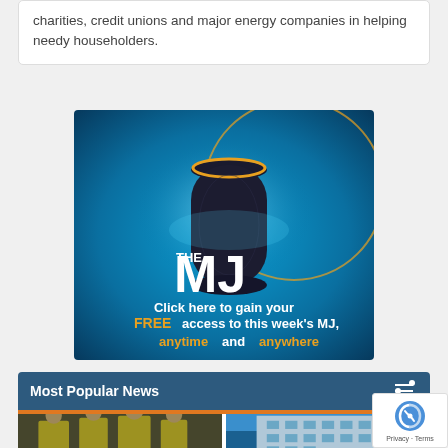charities, credit unions and major energy companies in helping needy householders.
[Figure (illustration): Advertisement banner for The MJ publication featuring an Amazon Echo smart speaker on a blue glowing background. Text reads: 'THE MJ - Click here to gain your FREE access to this week's MJ, anytime and anywhere']
Most Popular News
[Figure (photo): Thumbnail photo showing people in high-visibility yellow jackets, likely police officers]
[Figure (photo): Thumbnail photo showing a building exterior with glass facade]